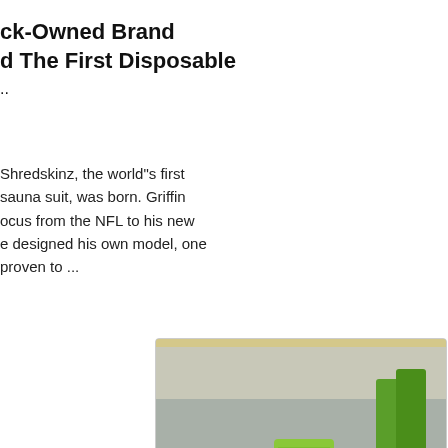ck-Owned Brand d The First Disposable ..
Shredskinz, the world"s first sauna suit, was born. Griffin ocus from the NFL to his new e designed his own model, one proven to ...
[Figure (photo): Photo of large green industrial crusher/cone parts stacked in a factory warehouse setting]